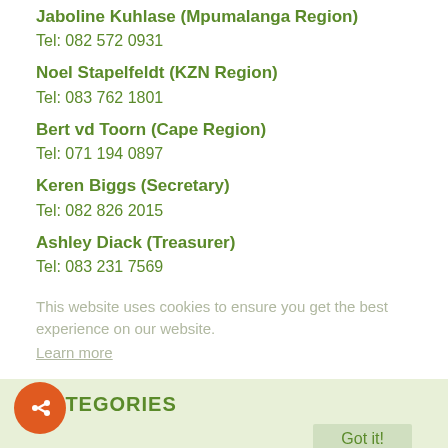Jaboline Kuhlase (Mpumalanga Region)
Tel: 082 572 0931
Noel Stapelfeldt (KZN Region)
Tel: 083 762 1801
Bert vd Toorn (Cape Region)
Tel: 071 194 0897
Keren Biggs (Secretary)
Tel: 082 826 2015
Ashley Diack (Treasurer)
Tel: 083 231 7569
This website uses cookies to ensure you get the best experience on our website.
Learn more
CATEGORIES
Got it!
Forestry (2)
ETA and QCTO (1)